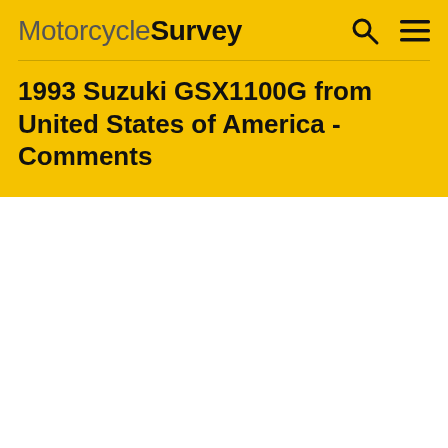MotorcycleSurvey
1993 Suzuki GSX1100G from United States of America - Comments